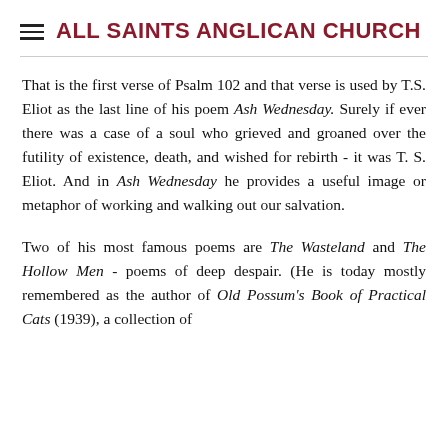ALL SAINTS ANGLICAN CHURCH
That is the first verse of Psalm 102 and that verse is used by T.S. Eliot as the last line of his poem Ash Wednesday. Surely if ever there was a case of a soul who grieved and groaned over the futility of existence, death, and wished for rebirth - it was T. S. Eliot. And in Ash Wednesday he provides a useful image or metaphor of working and walking out our salvation.
Two of his most famous poems are The Wasteland and The Hollow Men - poems of deep despair. (He is today mostly remembered as the author of Old Possum's Book of Practical Cats (1939), a collection of